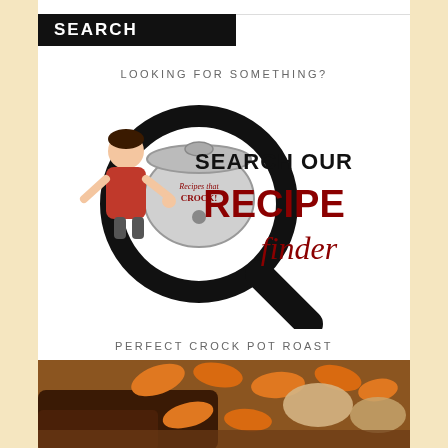SEARCH
LOOKING FOR SOMETHING?
[Figure (logo): Search Our Recipe Finder logo with magnifying glass, crock pot, and cartoon woman in red apron]
PERFECT CROCK POT ROAST
[Figure (photo): Close-up photo of crock pot roast with carrots and potatoes]